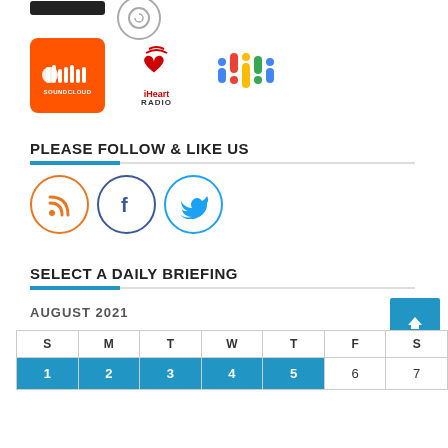[Figure (logo): Partial top logos row: black rounded rectangle logo and circle logo (cropped at top of page)]
[Figure (logo): Podcast platform logos: SoundCloud (orange square), iHeart Radio (red/white heart logo), Google Podcasts (colorful dots logo)]
PLEASE FOLLOW & LIKE US
[Figure (logo): Social media icons: RSS feed (orange circle), Facebook (dark circle with f), Twitter (light blue circle with bird)]
SELECT A DAILY BRIEFING
AUGUST 2021
| S | M | T | W | T | F | S |
| --- | --- | --- | --- | --- | --- | --- |
| 1 | 2 | 3 | 4 | 5 | 6 | 7 |